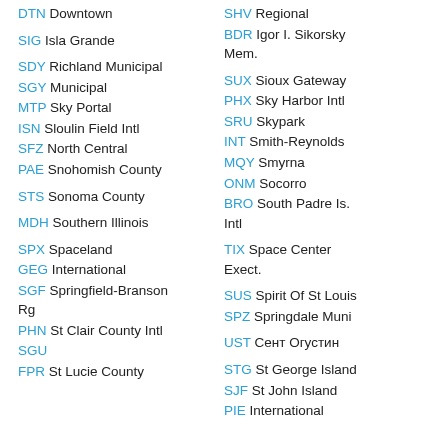DTN Downtown
SIG Isla Grande
SDY Richland Municipal
SGY Municipal
MTP Sky Portal
ISN Sloulin Field Intl
SFZ North Central
PAE Snohomish County
STS Sonoma County
MDH Southern Illinois
SPX Spaceland
GEG International
SGF Springfield-Branson Rg
PHN St Clair County Intl
SGU
FPR St Lucie County
SHV Regional
BDR Igor I. Sikorsky Mem.
SUX Sioux Gateway
PHX Sky Harbor Intl
SRU Skypark
INT Smith-Reynolds
MQY Smyrna
ONM Socorro
BRO South Padre Is. Intl
TIX Space Center Exect.
SUS Spirit Of St Louis
SPZ Springdale Muni
UST Сент Огустин
STG St George Island
SJF St John Island
PIE International